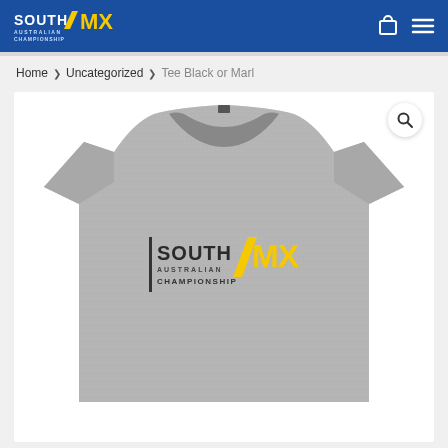South Australian MX Championship
Home > Uncategorized > Tee Black or Marl
[Figure (photo): Grey marle t-shirt with South Australian MX Championship logo printed on front chest. The shirt is displayed on a mannequin against a white background. A magnifying glass / search icon appears in the top right of the image.]